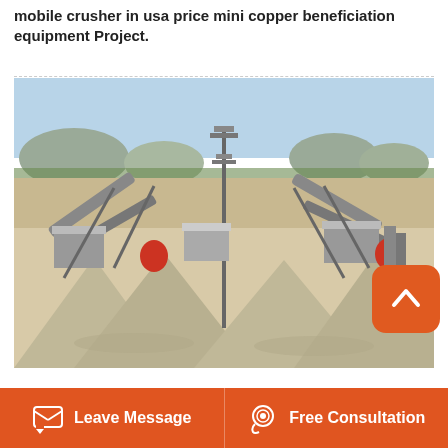mobile crusher in usa price mini copper beneficiation equipment Project.
[Figure (photo): Aerial view of an open-air mining/crushing plant facility with multiple conveyor belts, crushers, stockpiles of crushed material, and industrial machinery. Mountains visible in the background under a clear blue sky.]
Leave Message   Free Consultation